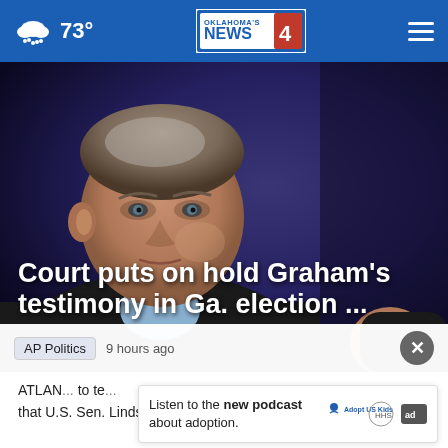73° — Oklahoma's News 4
[Figure (photo): Middle-aged man with grey-brown hair in a dark jacket against a dark blue background — Lindsey Graham]
Court puts on hold Graham's testimony in Ga. election ...
AP Politics  9 hours ago
ATLAN... to te... that U.S. Sen. Lindsey Graham testify before a special
Listen to the new podcast about adoption. Adopt US Kids [ad]